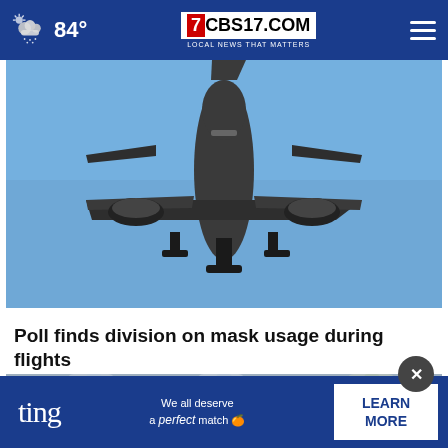84° CBS17.COM LOCAL NEWS THAT MATTERS
[Figure (photo): Airplane photographed from below against a blue sky, showing the underside of the fuselage, wings, engines, and landing gear deployed.]
Poll finds division on mask usage during flights
[Figure (photo): Close-up photo of glass bottles with blue caps, slightly blurred background.]
[Figure (infographic): Ting advertisement overlay: 'We all deserve a perfect match' with a LEARN MORE button.]